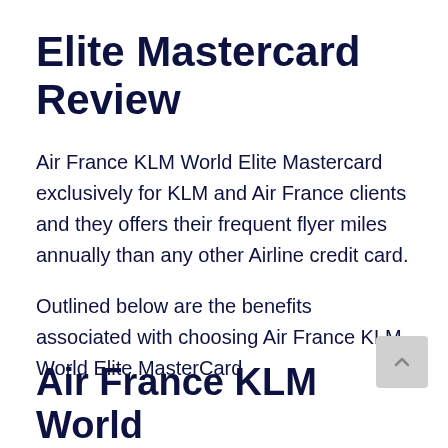Elite Mastercard Review
Air France KLM World Elite Mastercard exclusively for KLM and Air France clients and they offers their frequent flyer miles annually than any other Airline credit card.
Outlined below are the benefits associated with choosing Air France KLM World Elite MasterCard
Air France KLM World